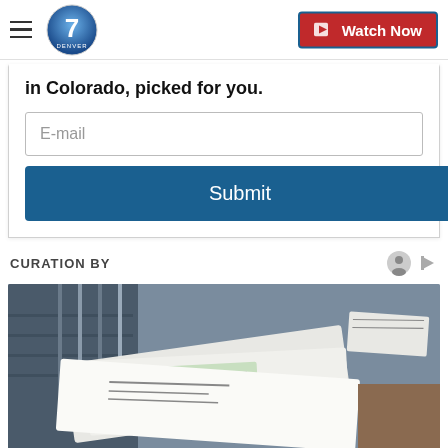Denver7 — Watch Now
in Colorado, picked for you.
E-mail
Submit
CURATION BY
[Figure (photo): Photo of mail envelopes and checks stacked on a desk with a keyboard and file folders in the background]